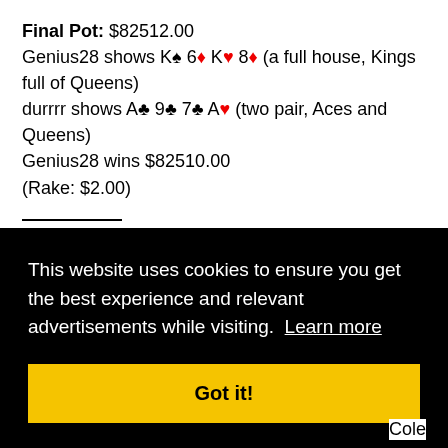Final Pot: $82512.00
Genius28 shows K♠ 6♦ K♥ 8♦ (a full house, Kings full of Queens)
durrrr shows A♣ 9♣ 7♣ A♥ (two pair, Aces and Queens)
Genius28 wins $82510.00
(Rake: $2.00)
Full Tilt Poker $200/$400 Pot Limit Omaha Hi $70 Ante - 4 players
The Official 2+2 Hand Converter Powered By DeucesCracke
This website uses cookies to ensure you get the best experience and relevant advertisements while visiting. Learn more
Got it!
Cole